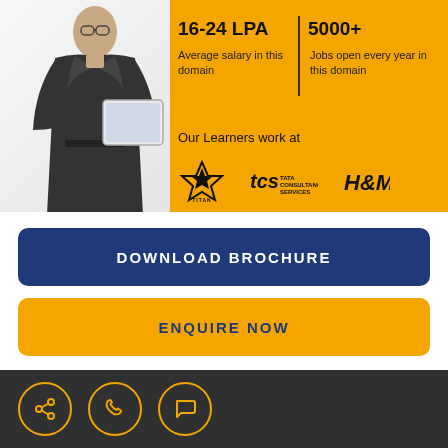[Figure (photo): A man in a dark suit holding papers, standing in front of an orange diagonal background with stats]
16-24 LPA
Average salary in this domain
5000+
Jobs open every year in this domain
Our Learners work at
[Figure (logo): Titan logo]
[Figure (logo): TCS logo]
[Figure (logo): H&M logo]
DOWNLOAD BROCHURE
ENQUIRE NOW
[Figure (infographic): Footer bar with share, phone, and chat icons on dark background]